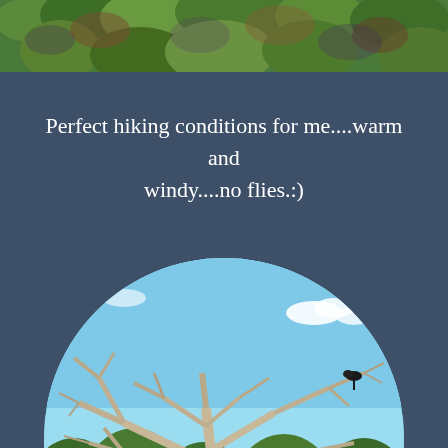[Figure (photo): Top strip photo showing green leafy vegetation and foliage at top of page]
Perfect hiking conditions for me....warm and windy....no flies.:)
[Figure (photo): Circular cropped photo of a bare white dead tree with gnarled branches against a blue sky, surrounded by green conifers, with a dark bird perched at the top]